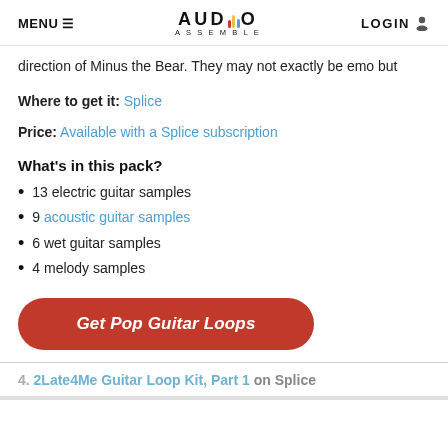MENU  |  AUDIO ASSEMBLE  |  LOGIN
direction of Minus the Bear. They may not exactly be emo but
Where to get it: Splice
Price: Available with a Splice subscription
What's in this pack?
13 electric guitar samples
9 acoustic guitar samples
6 wet guitar samples
4 melody samples
Get Pop Guitar Loops
4. 2Late4Me Guitar Loop Kit, Part 1 on Splice